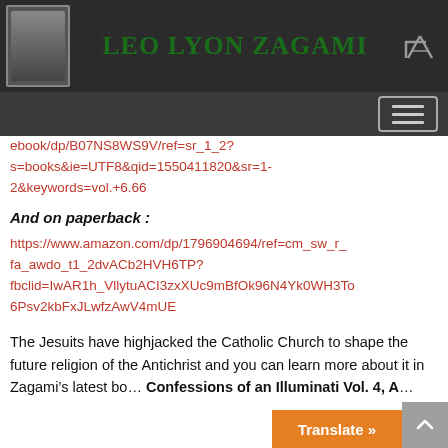LEO LYON ZAGAMI
ebook/dp/B07NS8WS9V/ref=sr_1_2?s=books&ie=UTF8&qid=1550411820&sr=1-2&keywords=vol.+6.66
And on paperback :
https://www.amazon.com/dp/1796904694/ref=cm_sw_r_fa_awdo_t1_2dvACb2HVH6TP?fbclid=IwAR1h_VllytuACI3zxXUc9mBfOk96N4Yk0WH3To6Psv2kbFxJLwfzAwV4mUE
The Jesuits have highjacked the Catholic Church to shape the future religion of the Antichrist and you can learn more about it in Zagami’s latest bo… Confessions of an Illuminati Vol. 4, A…